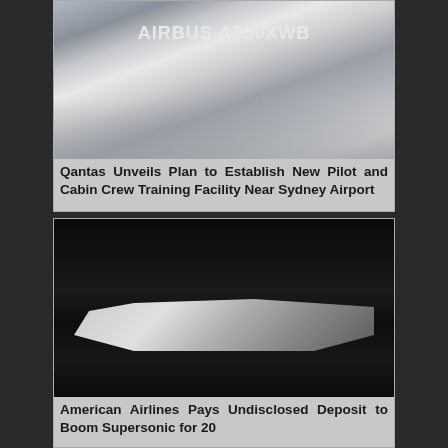[Figure (photo): Airbus A350XWB aircraft nose/fuselage section on a stand in a hangar facility, with the Airbus A350XWB logo visible on the aircraft body]
Qantas Unveils Plan to Establish New Pilot and Cabin Crew Training Facility Near Sydney Airport
[Figure (photo): Black and white photo of a sleek supersonic aircraft (Boom Supersonic) on dark background, side profile view showing needle nose, delta wings and multiple engines]
American Airlines Pays Undisclosed Deposit to Boom Supersonic for 20